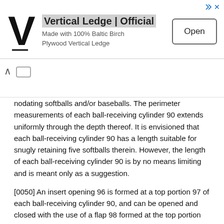[Figure (other): Advertisement banner for Vertical Ledge | Official. Shows V logo, text 'Made with 100% Baltic Birch Plywood Vertical Ledge', and an Open button. Navigation arrow visible below.]
nodating softballs and/or baseballs. The perimeter measurements of each ball-receiving cylinder 90 extends uniformly through the depth thereof. It is envisioned that each ball-receiving cylinder 90 has a length suitable for snugly retaining five softballs therein. However, the length of each ball-receiving cylinder 90 is by no means limiting and is meant only as a suggestion.
[0050] An insert opening 96 is formed at a top portion 97 of each ball-receiving cylinder 90, and can be opened and closed with the use of a flap 98 formed at the top portion 97 thereof. A thin, linear strip of Velcro® material 105 is sewn to an underside of each flap 98, and along an outer surface 99 of the ball-receiving cylinder 90 just below the insert opening 96 formed therein, so as to facilitate both the opening and closing of the insert opening 96.
[0051] The wheeled, portable, collapsible athletic equipment carrier 10 is designed and configured so as to securely accommodate and transport baseballs, softballs, helmets, bats, soccer balls, basketballs, footballs, rackets, protective gear, and other similar athletic equipment to a playing